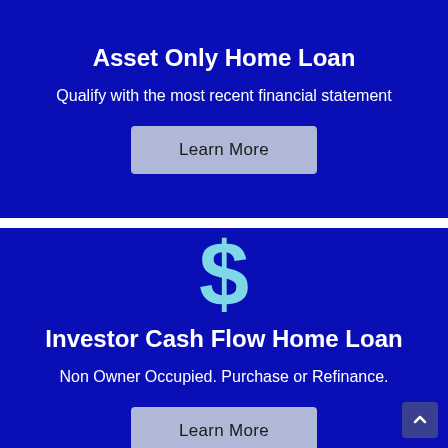Asset Only Home Loan
Qualify with the most recent financial statement
Learn More
[Figure (illustration): Light blue dollar sign icon]
Investor Cash Flow Home Loan
Non Owner Occupied. Purchase or Refinance.
Learn More